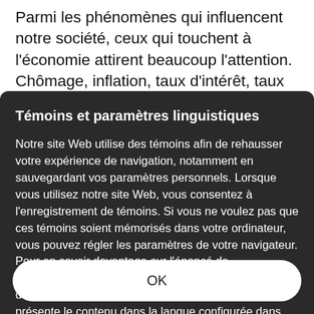Parmi les phénomènes qui influencent notre société, ceux qui touchent à l'économie attirent beaucoup l'attention. Chômage, inflation, taux d'intérêt, taux de change, emploi, productivité, investissement sont des termes que l'on rencontre tous les jours dans les médias d'information. Il n'est pas toujours facile pour
Témoins et paramètres linguistiques
Notre site Web utilise des témoins afin de rehausser votre expérience de navigation, notamment en sauvegardant vos paramètres personnels. Lorsque vous utilisez notre site Web, vous consentez à l'enregistrement de témoins. Si vous ne voulez pas que ces témoins soient mémorisés dans votre ordinateur, vous pouvez régler les paramètres de votre navigateur. Pour en savoir davantage sur l'énoncé de confidentialité du site Web en lien avec la sauvegarde de renseignements. Par défaut, notre site Web présente le contenu dans la langue configurée dans votre navigateur. Comment changer la langue de votre fureteur.
OK